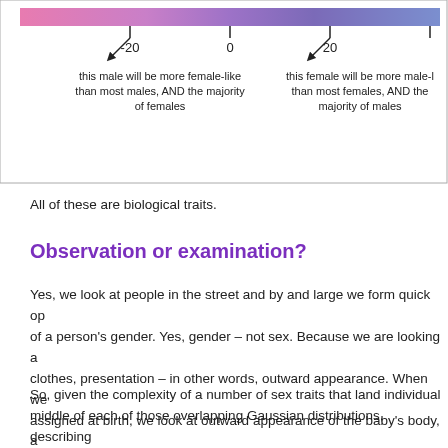[Figure (continuous-plot): A horizontal gradient scale bar ranging from pink/purple on the left to blue on the right, with tick marks at -20, 0, and 20. Arrows point to -20 and 20 positions. Below -20: 'this male will be more female-like than most males, AND the majority of females'. Below 20: 'this female will be more male-like than most females, AND the majority of males'.]
All of these are biological traits.
Observation or examination?
Yes, we look at people in the street and by and large we form quick opinions of a person's gender. Yes, gender – not sex. Because we are looking at clothes, presentation – in other words, outward appearance. When we are assigned at birth, we look at outward appearance of the baby's body, a relates mainly to penis size. 1 in 200 live births present ambiguity, so w clear observation of a single sex trait is not as clear as most would be
So, given the complexity of a number of sex traits that land individual middle of each of those overlapping Gaussian distributions, describing obvious binary is problematic to say the least. What about examinatio certain from our street observation, that further examination, like actua person – not undressing them, please – would prove us wrong in a fai